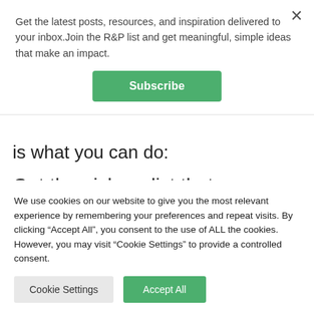Get the latest posts, resources, and inspiration delivered to your inbox.Join the R&P list and get meaningful, simple ideas that make an impact.
Subscribe
is what you can do:
Get the pick-up list that your parents' made
We use cookies on our website to give you the most relevant experience by remembering your preferences and repeat visits. By clicking "Accept All", you consent to the use of ALL the cookies. However, you may visit "Cookie Settings" to provide a controlled consent.
Cookie Settings
Accept All